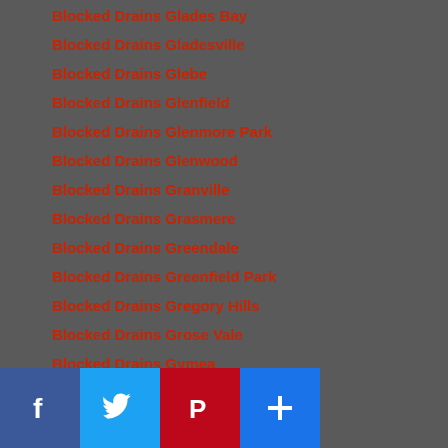Blocked Drains Glades Bay
Blocked Drains Gladesville
Blocked Drains Glebe
Blocked Drains Glenfield
Blocked Drains Glenmore Park
Blocked Drains Glenwood
Blocked Drains Granville
Blocked Drains Grasmere
Blocked Drains Greendale
Blocked Drains Greenfield Park
Blocked Drains Gregory Hills
Blocked Drains Grose Vale
Blocked Drains Gymea
Blocked Drains Haberfield
Blocked Drains HammondVille
Blocked Drains Harris Park
Blocked Drains Hassall Grove
Blocked Drains Haymarket
Blocked Drains Heathcote
[Figure (other): Social sharing bar with Facebook, Twitter, Pinterest, and a plus/share button]